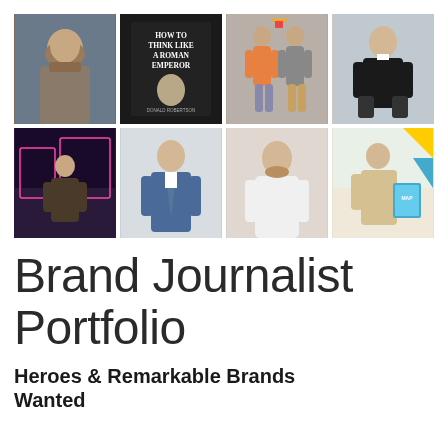[Figure (photo): Grid of 8 photos: top row shows a bearded man, a book cover 'How To Think Like A Roman Emperor', two men juggling/tossing items, a young man in a suit sitting on stairs; bottom row shows a woman at night event, a man in blue suit with tie, a man in white shirt, a man in beige cardigan holding a map book.]
Brand Journalist Portfolio
Heroes & Remarkable Brands Wanted